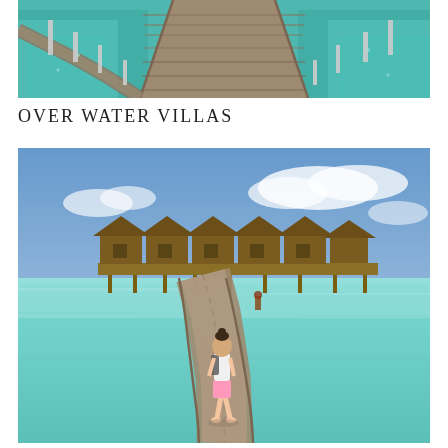[Figure (photo): Aerial/ground-level view of a wooden boardwalk/jetty over turquoise tropical water, with overwater villa structures visible on the sides. The walkway extends into the distance.]
OVER WATER VILLAS
[Figure (photo): A young girl in white top and pink shorts walks along a curved wooden pier/boardwalk over crystal-clear turquoise water in the Maldives, with overwater bungalows/villas with thatched roofs visible in the background under a blue sky with clouds.]